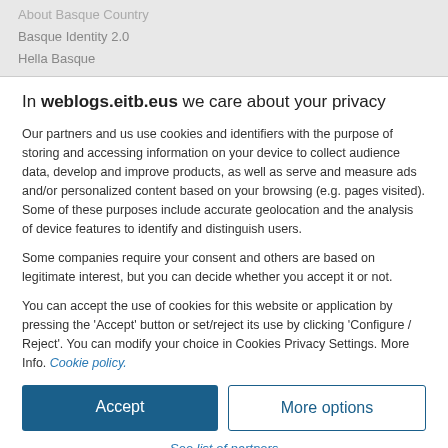About Basque Country
Basque Identity 2.0
Hella Basque
In weblogs.eitb.eus we care about your privacy
Our partners and us use cookies and identifiers with the purpose of storing and accessing information on your device to collect audience data, develop and improve products, as well as serve and measure ads and/or personalized content based on your browsing (e.g. pages visited). Some of these purposes include accurate geolocation and the analysis of device features to identify and distinguish users.
Some companies require your consent and others are based on legitimate interest, but you can decide whether you accept it or not.
You can accept the use of cookies for this website or application by pressing the 'Accept' button or set/reject its use by clicking 'Configure / Reject'. You can modify your choice in Cookies Privacy Settings. More Info. Cookie policy.
Accept
More options
See list of partners
Sibb° ver 125.38